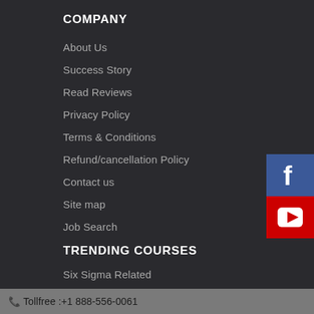COMPANY
About Us
Success Story
Read Reviews
Privacy Policy
Terms & Conditions
Refund/cancellation Policy
Contact us
Site map
Job Search
TRENDING COURSES
Six Sigma Related
Fitness Related
Accounts Related
[Figure (logo): Facebook icon - blue square with white letter f]
[Figure (logo): YouTube icon - red square with white play button triangle]
Tollfree :+1 888-556-0061